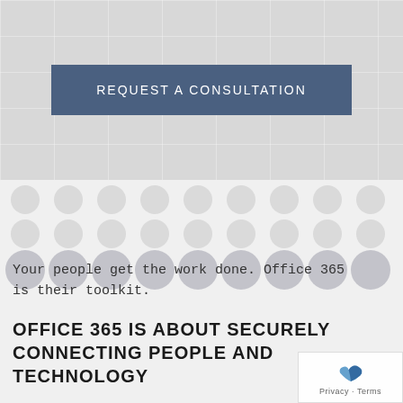[Figure (screenshot): Gray background section with faint grid lines and a dark blue 'REQUEST A CONSULTATION' button centered in the upper portion of the page.]
[Figure (infographic): Light gray background with a repeating dot/circle pattern arranged in a grid, decorative section background.]
Your people get the work done. Office 365 is their toolkit.
OFFICE 365 IS ABOUT SECURELY CONNECTING PEOPLE AND TECHNOLOGY